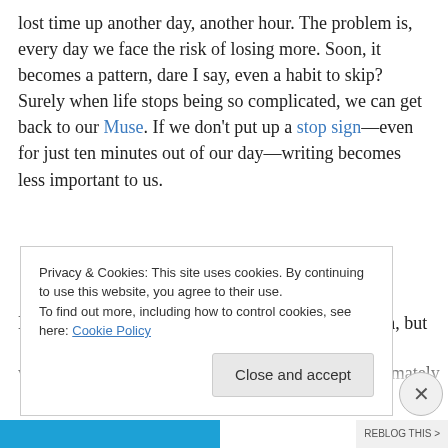lost time up another day, another hour. The problem is, every day we face the risk of losing more. Soon, it becomes a pattern, dare I say, even a habit to skip? Surely when life stops being so complicated, we can get back to our Muse. If we don't put up a stop sign—even for just ten minutes out of our day—writing becomes less important to us.
Now, I know there are days we can skip on occasion, but when it adds up to weeks or even months, we're ultimately
Privacy & Cookies: This site uses cookies. By continuing to use this website, you agree to their use. To find out more, including how to control cookies, see here: Cookie Policy